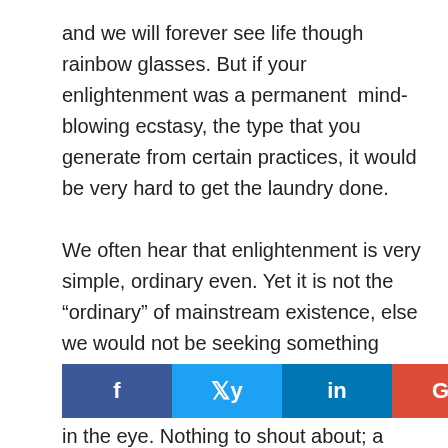and we will forever see life though rainbow glasses. But if your enlightenment was a permanent mind-blowing ecstasy, the type that you generate from certain practices, it would be very hard to get the laundry done.

We often hear that enlightenment is very simple, ordinary even. Yet it is not the “ordinary” of mainstream existence, else we would not be seeking something else… perhaps this kind of ordinary is more the kind of the all-knowing twinkle in the eye. Nothing to shout about; a deep resting in what is, a light-hearted humourful way to play in life…knowing all is not what it appears to be. Ordinary b
[Figure (infographic): Social media share buttons: Facebook (blue), Twitter (light blue), LinkedIn (dark blue), Google+ (red)]